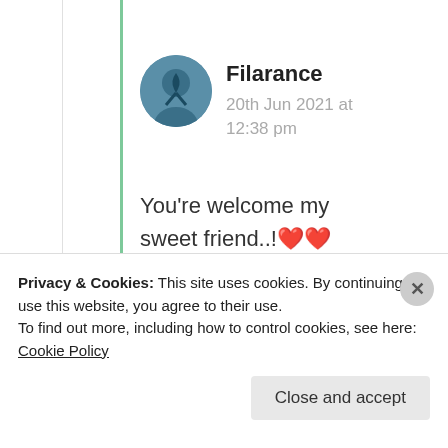Filarance
20th Jun 2021 at 12:38 pm
You're welcome my sweet friend..!❤️❤️
Like
Advertisements
[Figure (screenshot): Pocket Casts ad banner: red background with text 'An app by listeners, for listeners.' and Pocket Casts logo on right]
Privacy & Cookies: This site uses cookies. By continuing to use this website, you agree to their use.
To find out more, including how to control cookies, see here: Cookie Policy
Close and accept